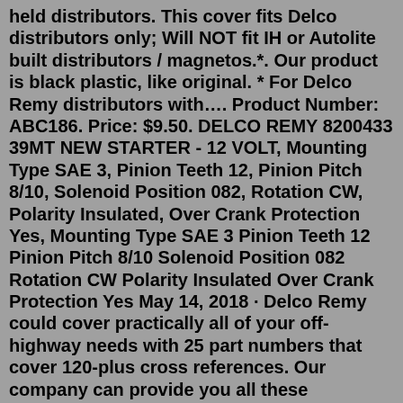held distributors. This cover fits Delco distributors only; Will NOT fit IH or Autolite built distributors / magnetos.*. Our product is black plastic, like original. * For Delco Remy distributors with…. Product Number: ABC186. Price: $9.50. DELCO REMY 8200433 39MT NEW STARTER - 12 VOLT, Mounting Type SAE 3, Pinion Teeth 12, Pinion Pitch 8/10, Solenoid Position 082, Rotation CW, Polarity Insulated, Over Crank Protection Yes, Mounting Type SAE 3 Pinion Teeth 12 Pinion Pitch 8/10 Solenoid Position 082 Rotation CW Polarity Insulated Over Crank Protection Yes May 14, 2018 · Delco Remy could cover practically all of your off-highway needs with 25 part numbers that cover 120-plus cross references. Our company can provide you all these Rotatable Flange Starters for replacement with similar quality. More Details, please visit Delco Remy Website: www.delcoremy.com. Picture from www.delcoremy.com. Jun 07, 2021 · Delco Remy Cross Reference Guide Engine Starter Cross Reference 2017 from www.adinaporter.com. Delco